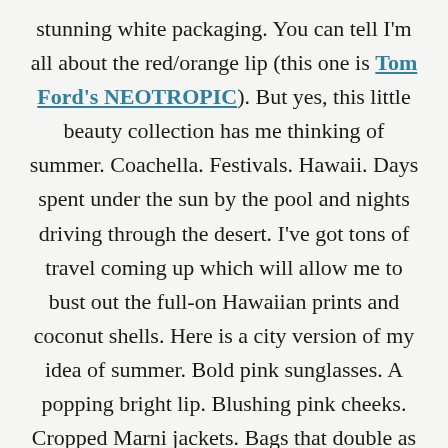stunning white packaging. You can tell I'm all about the red/orange lip (this one is Tom Ford's NEOTROPIC). But yes, this little beauty collection has me thinking of summer. Coachella. Festivals. Hawaii. Days spent under the sun by the pool and nights driving through the desert. I've got tons of travel coming up which will allow me to bust out the full-on Hawaiian prints and coconut shells. Here is a city version of my idea of summer. Bold pink sunglasses. A popping bright lip. Blushing pink cheeks. Cropped Marni jackets. Bags that double as a pets. Little suede skirts. Only thing missing is the ocean and a good book. I've got one word for you and say it with me: soleil